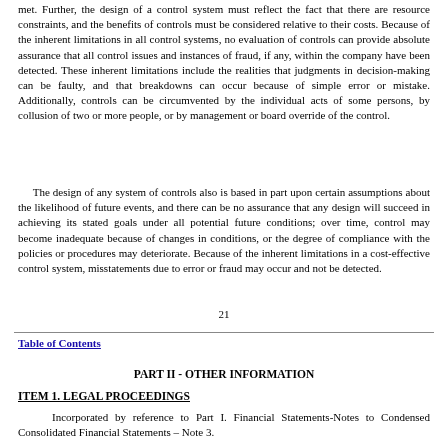met. Further, the design of a control system must reflect the fact that there are resource constraints, and the benefits of controls must be considered relative to their costs. Because of the inherent limitations in all control systems, no evaluation of controls can provide absolute assurance that all control issues and instances of fraud, if any, within the company have been detected. These inherent limitations include the realities that judgments in decision-making can be faulty, and that breakdowns can occur because of simple error or mistake. Additionally, controls can be circumvented by the individual acts of some persons, by collusion of two or more people, or by management or board override of the control.
The design of any system of controls also is based in part upon certain assumptions about the likelihood of future events, and there can be no assurance that any design will succeed in achieving its stated goals under all potential future conditions; over time, control may become inadequate because of changes in conditions, or the degree of compliance with the policies or procedures may deteriorate. Because of the inherent limitations in a cost-effective control system, misstatements due to error or fraud may occur and not be detected.
21
Table of Contents
PART II - OTHER INFORMATION
ITEM 1. LEGAL PROCEEDINGS
Incorporated by reference to Part I. Financial Statements-Notes to Condensed Consolidated Financial Statements – Note 3.